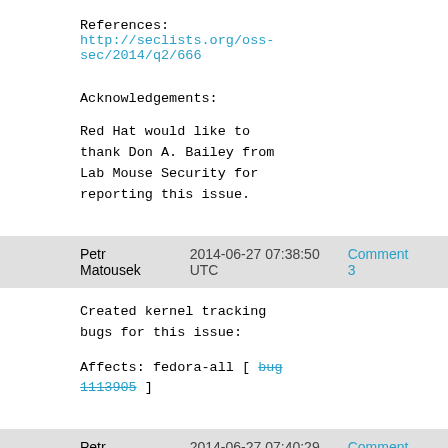References:
http://seclists.org/oss-sec/2014/q2/666
Acknowledgements:
Red Hat would like to thank Don A. Bailey from Lab Mouse Security for reporting this issue.
Petr Matousek   2014-06-27 07:38:50 UTC   Comment 3
Created kernel tracking bugs for this issue:
Affects: fedora-all [ bug 1113905 ]
Petr Matousek   2014-06-27 07:40:29 UTC   Comment 4
Statement: